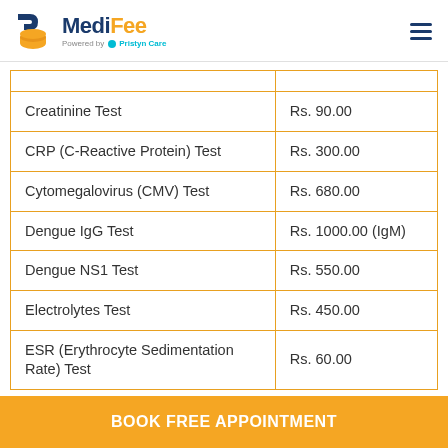MediFee — Powered by Pristyn Care
| Test Name | Price |
| --- | --- |
| Creatinine Test | Rs. 90.00 |
| CRP (C-Reactive Protein) Test | Rs. 300.00 |
| Cytomegalovirus (CMV) Test | Rs. 680.00 |
| Dengue IgG Test | Rs. 1000.00 (IgM) |
| Dengue NS1 Test | Rs. 550.00 |
| Electrolytes Test | Rs. 450.00 |
| ESR (Erythrocyte Sedimentation Rate) Test | Rs. 60.00 |
| Estradiol (E2) Test | Rs. 550.00 |
BOOK FREE APPOINTMENT